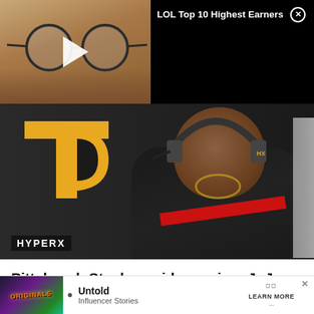[Figure (screenshot): Video thumbnail showing an Asian person with round glasses, with a play button overlay on black background. Title reads 'LOL Top 10 Highest Earners' with a close X button.]
[Figure (photo): Photo of JuJu Smith-Schuster wearing HyperX headset and black jersey with Team Diverge (TD) gold logo visible. HYPERX watermark in bottom left.]
Pittsburgh Steelers wide receiver JuJu Smith-Schuster has announced the launch of his own gaming organization, Team Diverge, with six signed content creators.
[Figure (screenshot): Bottom ad bar with Originals logo on left, bullet point, Untold Influencer Stories text, LEARN MORE button, and X close button.]